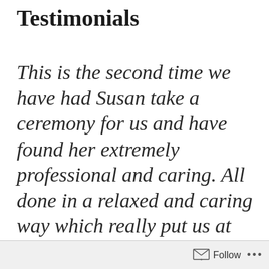Testimonials
This is the second time we have had Susan take a ceremony for us and have found her extremely professional and caring. All done in a relaxed and caring way which really put us at ease.
Follow